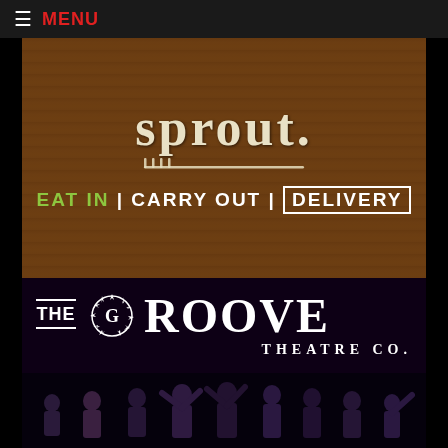☰ MENU
[Figure (photo): Sprout restaurant sign on wood background showing 'sprout.' text with a fork, and 'EAT IN | CARRY OUT | DELIVERY' below in green and white text]
[Figure (logo): The Groove Theatre Co. logo — white text on dark background with a gear/sun icon. Below shows performers dancing on stage in a dark setting.]